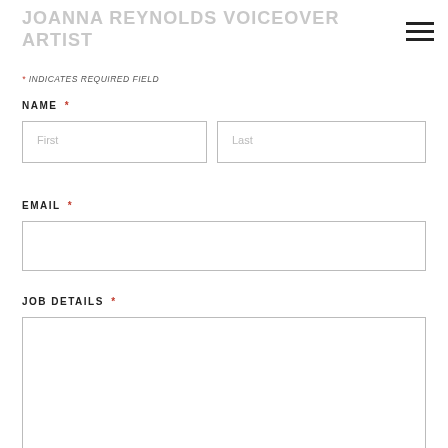JOANNA REYNOLDS VOICEOVER ARTIST
* INDICATES REQUIRED FIELD
NAME *
First
Last
EMAIL *
JOB DETAILS *